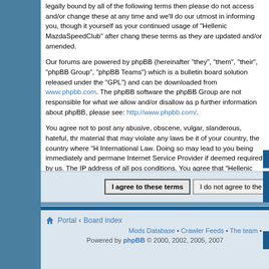legally bound by all of the following terms then please do not access and/or change these at any time and we'll do our utmost in informing you, though it yourself as your continued usage of "Hellenic MazdaSpeedClub" after chang these terms as they are updated and/or amended.
Our forums are powered by phpBB (hereinafter "they", "them", "their", "phpBB Group", "phpBB Teams") which is a bulletin board solution released under the "GPL") and can be downloaded from www.phpbb.com. The phpBB software the phpBB Group are not responsible for what we allow and/or disallow as p further information about phpBB, please see: http://www.phpbb.com/.
You agree not to post any abusive, obscene, vulgar, slanderous, hateful, thr material that may violate any laws be it of your country, the country where "H International Law. Doing so may lead to you being immediately and permane Internet Service Provider if deemed required by us. The IP address of all pos conditions. You agree that "Hellenic MazdaSpeedClub" have the right to rem time should we see fit. As a user you agree to any information you have ente this information will not be disclosed to any third party without your consent, phpBB shall be held responsible for any hacking attempt that may lead to the
I agree to these terms   I do not agree to th
Portal • Board index
Mods Database • Crawler Feeds • The team •
Powered by phpBB © 2000, 2002, 2005, 2007